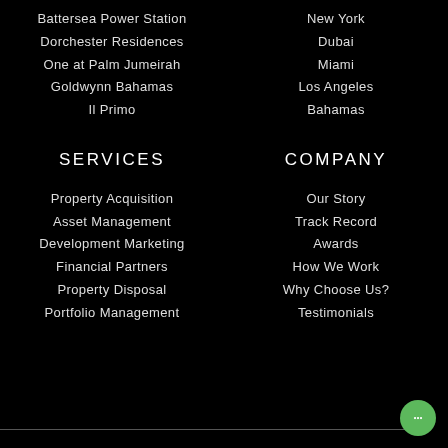Battersea Power Station
New York
Dorchester Residences
Dubai
One at Palm Jumeirah
Miami
Goldwynn Bahamas
Los Angeles
Il Primo
Bahamas
SERVICES
COMPANY
Property Acquisition
Our Story
Asset Management
Track Record
Development Marketing
Awards
Financial Partners
How We Work
Property Disposal
Why Choose Us?
Portfolio Management
Testimonials